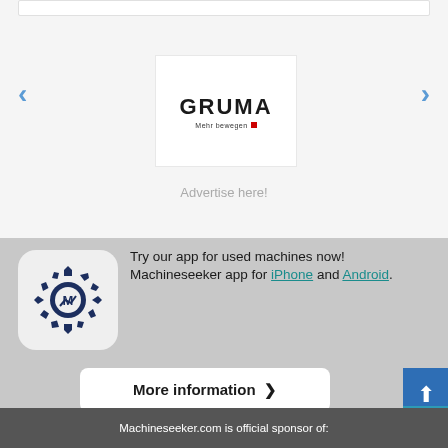[Figure (logo): GRUMA logo with tagline 'Mehr bewegen' and small red square, displayed in a white box with carousel navigation arrows]
Advertise here!
[Figure (logo): Machineseeker app icon: gear with M and chart symbol on light background with rounded corners]
Try our app for used machines now! Machineseeker app for iPhone and Android.
More information >
Machineseeker.com is official sponsor of: